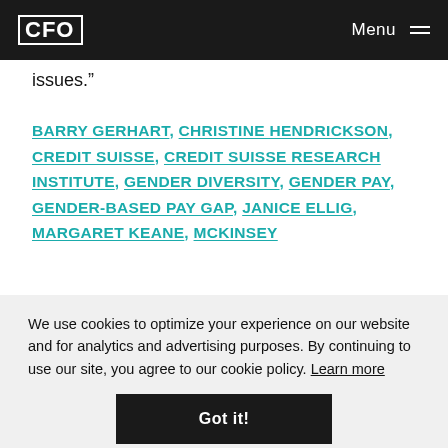CFO | Menu
issues.”
BARRY GERHART, CHRISTINE HENDRICKSON, CREDIT SUISSE, CREDIT SUISSE RESEARCH INSTITUTE, GENDER DIVERSITY, GENDER PAY, GENDER-BASED PAY GAP, JANICE ELLIG, MARGARET KEANE, MCKINSEY
We use cookies to optimize your experience on our website and for analytics and advertising purposes. By continuing to use our site, you agree to our cookie policy. Learn more
Got it!